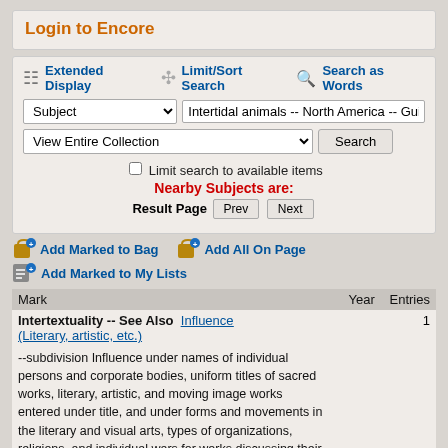Login to Encore
Extended Display  Limit/Sort Search  Search as Words
Subject | Intertidal animals -- North America -- Guid
View Entire Collection | Search
Limit search to available items
Nearby Subjects are:
Result Page  Prev  Next
Add Marked to Bag  Add All On Page
Add Marked to My Lists
| Mark | Year | Entries |
| --- | --- | --- |
| Intertextuality -- See Also  Influence (Literary, artistic, etc.) |  | 1 |
| --subdivision Influence under names of individual persons and corporate bodies, uniform titles of sacred works, literary, artistic, and moving image works entered under title, and under forms and movements in the literary and visual arts, types of organizations, religions, and individual wars for works discussing their |  |  |